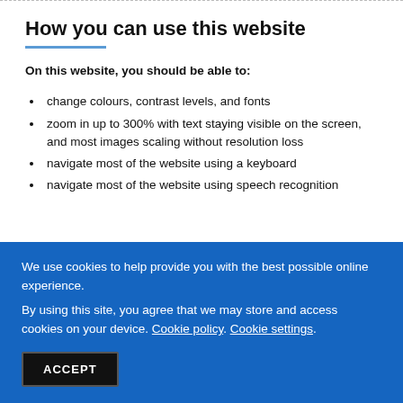How you can use this website
On this website, you should be able to:
change colours, contrast levels, and fonts
zoom in up to 300% with text staying visible on the screen, and most images scaling without resolution loss
navigate most of the website using a keyboard
navigate most of the website using speech recognition
We use cookies to help provide you with the best possible online experience.
By using this site, you agree that we may store and access cookies on your device. Cookie policy. Cookie settings.